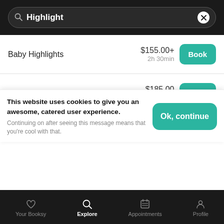Highlight
Baby Highlights — $155.00+ — 2h 30min
Highlight Long Hair (Past Shoulders) — $185.00 — 4h 30min
Brazilian Blow out, Doesn't Includes [partial] — $160.00+
This website uses cookies to give you an awesome, catered user experience. Continuing on after seeing this message means that you're cool with that.
Your Booksy | Explore | Appointments | Profile